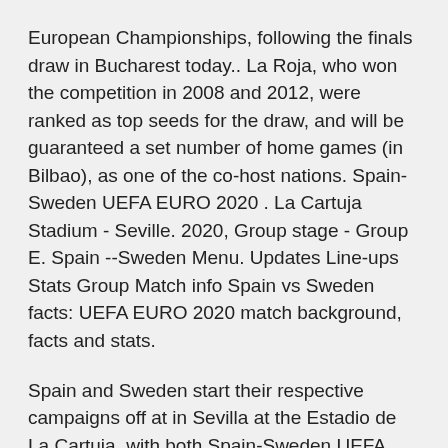European Championships, following the finals draw in Bucharest today.. La Roja, who won the competition in 2008 and 2012, were ranked as top seeds for the draw, and will be guaranteed a set number of home games (in Bilbao), as one of the co-host nations. Spain-Sweden UEFA EURO 2020 . La Cartuja Stadium - Seville. 2020, Group stage - Group E. Spain --Sweden Menu. Updates Line-ups Stats Group Match info Spain vs Sweden facts: UEFA EURO 2020 match background, facts and stats.
Spain and Sweden start their respective campaigns off at in Sevilla at the Estadio de La Cartuja, with both Spain-Sweden UEFA EURO 2020 . La Cartuja Stadium - Seville. 2020, Group stage - Group E. Spain --Sweden Menu. Updates Line-ups Stats Group Match info Spain